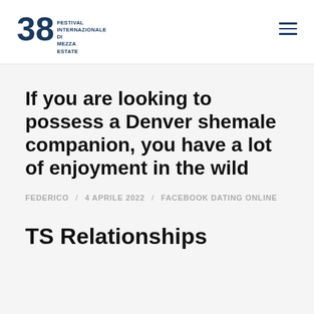38 FESTIVAL INTERNAZIONALE DI MEZZA ESTATE
If you are looking to possess a Denver shemale companion, you have a lot of enjoyment in the wild
FEDERICO / 4 APRILE 2022 / FACEBOOK DATING ONLINE
TS Relationships